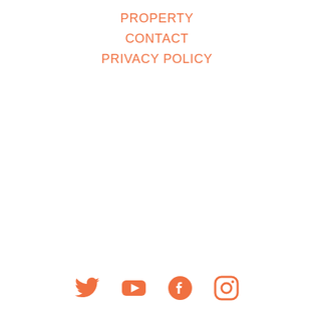PROPERTY
CONTACT
PRIVACY POLICY
[Figure (illustration): Four social media icons in orange: Twitter bird, YouTube play button, Facebook f, Instagram camera]